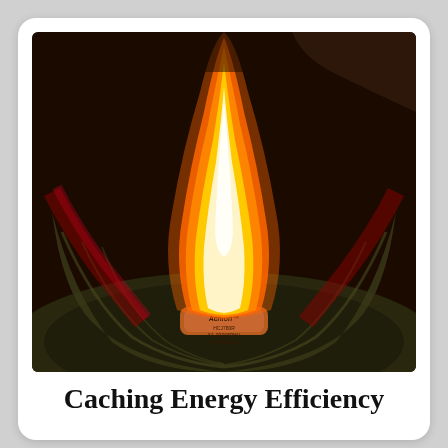[Figure (photo): Close-up photograph of a flame burning above a small camping stove burner (branded 'Achion'), set inside what appears to be a dark cooking pot or bowl. The flame is bright orange-yellow at the base and white near the top, with a dark background and red reflections visible.]
Caching Energy Efficiency